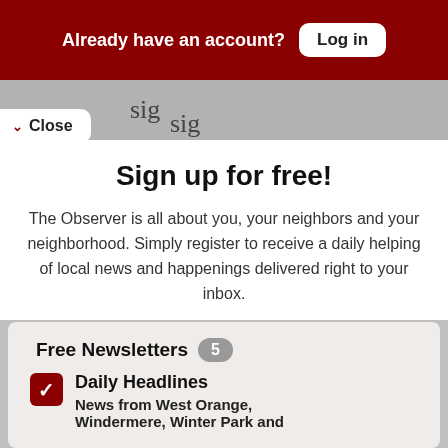Already have an account? Log in
sig
Close  sig
Sign up for free!
The Observer is all about you, your neighbors and your neighborhood. Simply register to receive a daily helping of local news and happenings delivered right to your inbox.
Free Newsletters 5
Daily Headlines — News from West Orange, Windermere, Winter Park and